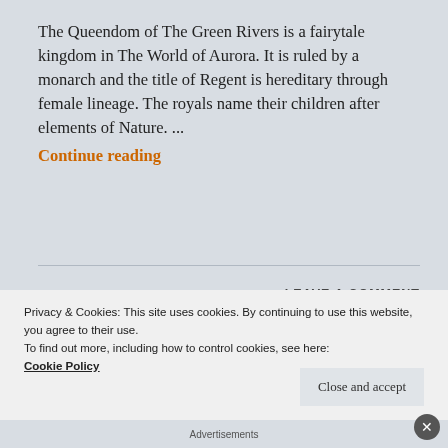The Queendom of The Green Rivers is a fairytale kingdom in The World of Aurora. It is ruled by a monarch and the title of Regent is hereditary through female lineage. The royals name their children after elements of Nature. ...
Continue reading
LEAVE A COMMENT
[Figure (photo): A partial image strip showing a cloudy sky with blue tones, partially obscured by the cookie banner overlay.]
Privacy & Cookies: This site uses cookies. By continuing to use this website, you agree to their use.
To find out more, including how to control cookies, see here:
Cookie Policy
Close and accept
Advertisements